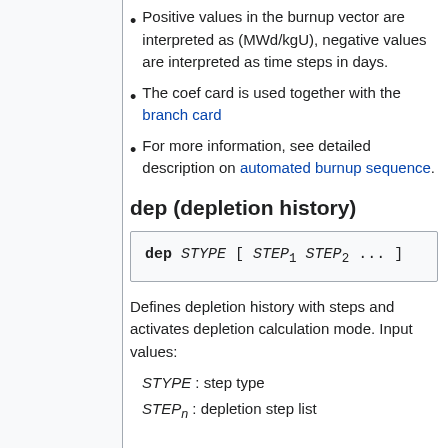Positive values in the burnup vector are interpreted as (MWd/kgU), negative values are interpreted as time steps in days.
The coef card is used together with the branch card
For more information, see detailed description on automated burnup sequence.
dep (depletion history)
[Figure (other): Code syntax box: dep STYPE [ STEP1 STEP2 ... ]]
Defines depletion history with steps and activates depletion calculation mode. Input values:
STYPE : step type
STEPn : depletion step list